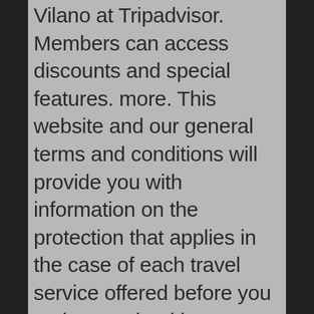Vilano at Tripadvisor. Members can access discounts and special features. more. This website and our general terms and conditions will provide you with information on the protection that applies in the case of each travel service offered before you make your booking. Just 1.5 miles from St. Augustine's historic district, Vilano Beach is a lovely getaway location. Deux attractions prisées, Castillo de San Marcos et Ripley's Believe It Or Not, se situent à proximité. The staff was very helpful as usual, making us feel right at home. Please see our general terms and conditions for more information about financial protection, or for more